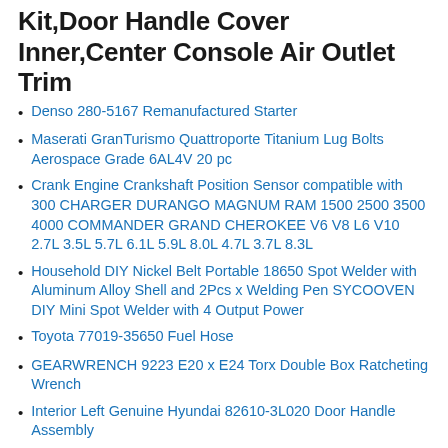Kit,Door Handle Cover Inner,Center Console Air Outlet Trim
Denso 280-5167 Remanufactured Starter
Maserati GranTurismo Quattroporte Titanium Lug Bolts Aerospace Grade 6AL4V 20 pc
Crank Engine Crankshaft Position Sensor compatible with 300 CHARGER DURANGO MAGNUM RAM 1500 2500 3500 4000 COMMANDER GRAND CHEROKEE V6 V8 L6 V10 2.7L 3.5L 5.7L 6.1L 5.9L 8.0L 4.7L 3.7L 8.3L
Household DIY Nickel Belt Portable 18650 Spot Welder with Aluminum Alloy Shell and 2Pcs x Welding Pen SYCOOVEN DIY Mini Spot Welder with 4 Output Power
Toyota 77019-35650 Fuel Hose
GEARWRENCH 9223 E20 x E24 Torx Double Box Ratcheting Wrench
Interior Left Genuine Hyundai 82610-3L020 Door Handle Assembly
Pink Waifenslugaira Fits for Jeep